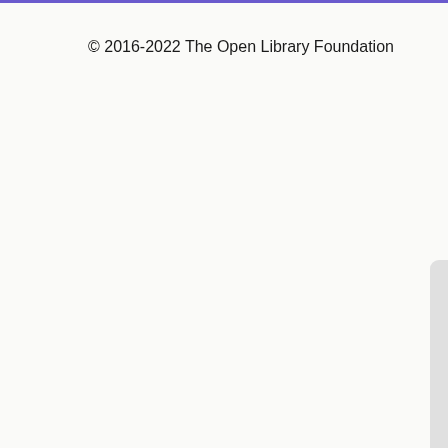© 2016-2022 The Open Library Foundation